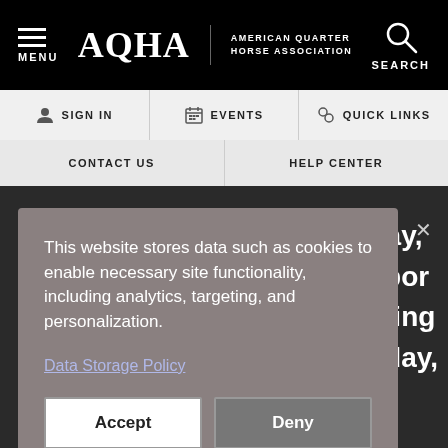AQHA | AMERICAN QUARTER HORSE ASSOCIATION
SIGN IN
EVENTS
QUICK LINKS
CONTACT US
HELP CENTER
This website stores data such as cookies to enable necessary site functionality, including analytics, targeting, and personalization.
Data Storage Policy
Accept
Deny